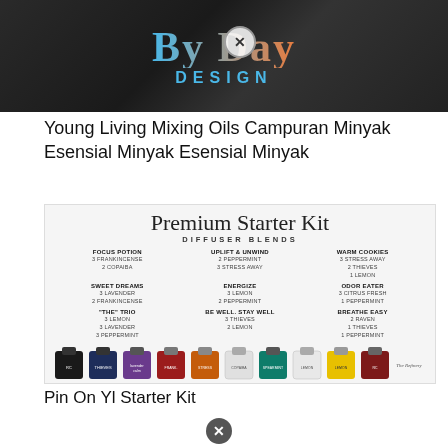[Figure (photo): Top banner image with 'By Day Design' logo text in cursive and colored lettering on dark background, with a circular close/X button overlay]
Young Living Mixing Oils Campuran Minyak Esensial Minyak Esensial Minyak
[Figure (infographic): Premium Starter Kit Diffuser Blends infographic showing 9 diffuser blend recipes in a 3x3 grid: Focus Potion (3 Frankincense, 2 Copaiba), Uplift & Unwind (2 Peppermint, 3 Stress Away), Warm Cookies (3 Stress Away, 2 Thieves, 1 Lemon), Sweet Dreams (3 Lavender, 2 Frankincense), Energize (3 Lemon, 2 Peppermint), Odor Eater (3 Citrus Fresh, 1 Peppermint), 'The' Trio (3 Lemon, 3 Lavender, 3 Peppermint), Be Well Stay Well (3 Thieves, 2 Lemon), Breathe Easy (2 Raven, 1 Thieves, 1 Peppermint). Shows essential oil bottles at the bottom. Signed 'The Refinery'.]
Pin On Yl Starter Kit